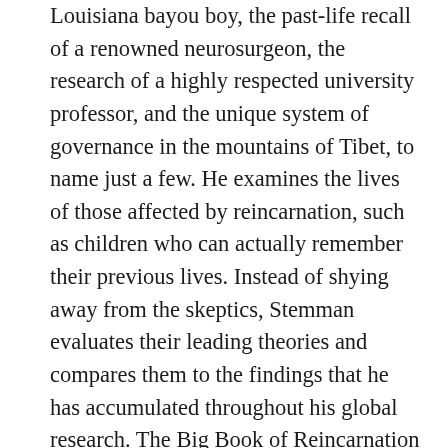Louisiana bayou boy, the past-life recall of a renowned neurosurgeon, the research of a highly respected university professor, and the unique system of governance in the mountains of Tibet, to name just a few. He examines the lives of those affected by reincarnation, such as children who can actually remember their previous lives. Instead of shying away from the skeptics, Stemman evaluates their leading theories and compares them to the findings that he has accumulated throughout his global research. The Big Book of Reincarnation is thorough, well researched, engaging, and the most comprehensive book ever published on